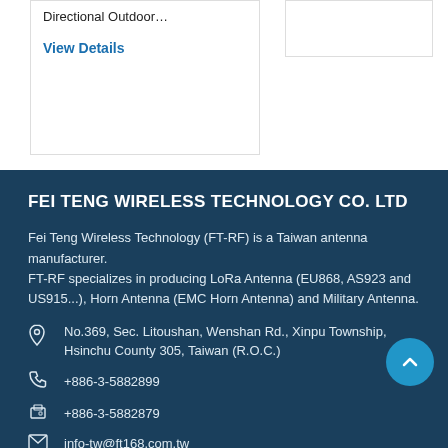Directional Outdoor…
View Details
FEI TENG WIRELESS TECHNOLOGY CO. LTD
Fei Teng Wireless Technology (FT-RF) is a Taiwan antenna manufacturer.
FT-RF specializes in producing LoRa Antenna (EU868, AS923 and US915...), Horn Antenna (EMC Horn Antenna) and Military Antenna.
No.369, Sec. Litoushan, Wenshan Rd., Xinpu Township, Hsinchu County 305, Taiwan (R.O.C.)
+886-3-5882899
+886-3-5882879
info-tw@ft168.com.tw